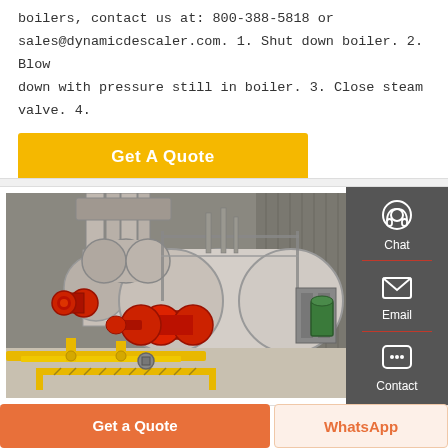boilers, contact us at: 800-388-5818 or sales@dynamicdescaler.com. 1. Shut down boiler. 2. Blow down with pressure still in boiler. 3. Close steam valve. 4.
Get A Quote
[Figure (photo): Industrial boilers in a factory setting. Two large cylindrical horizontal boilers with red burner assemblies attached, yellow gas supply piping on the floor, metal structure and ductwork in background.]
Chat
Email
Contact
Get a Quote
WhatsApp